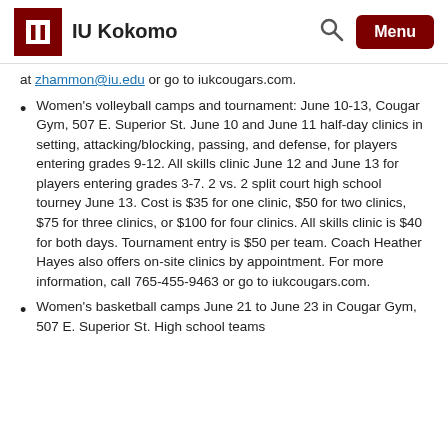IU Kokomo
at zhammon@iu.edu or go to iukcougars.com.
Women's volleyball camps and tournament: June 10-13, Cougar Gym, 507 E. Superior St. June 10 and June 11 half-day clinics in setting, attacking/blocking, passing, and defense, for players entering grades 9-12. All skills clinic June 12 and June 13 for players entering grades 3-7. 2 vs. 2 split court high school tourney June 13. Cost is $35 for one clinic, $50 for two clinics, $75 for three clinics, or $100 for four clinics. All skills clinic is $40 for both days. Tournament entry is $50 per team. Coach Heather Hayes also offers on-site clinics by appointment. For more information, call 765-455-9463 or go to iukcougars.com.
Women's basketball camps June 21 to June 23 in Cougar Gym, 507 E. Superior St. High school teams...